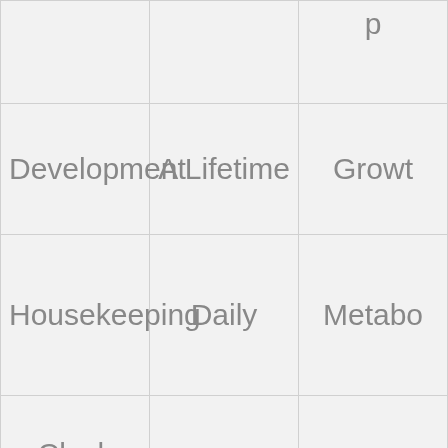| [partial] | [partial] | p… |
| Development | A Lifetime | Growt… |
| Housekeeping | Daily | Metabo… |
| Clock Genes | Circadian | Synchroni… |
| Late… |  |  |